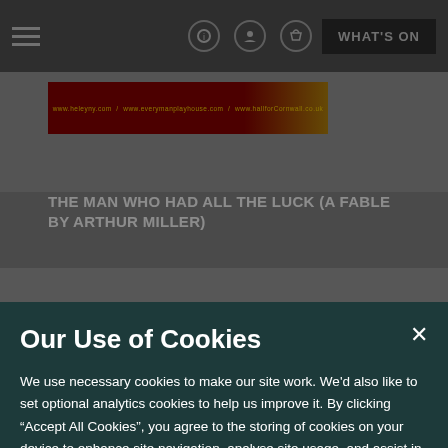Navigation bar with hamburger menu, accessibility icon, user icon, basket icon, and WHAT'S ON button
[Figure (screenshot): Show poster banner for 'The Man Who Had All The Luck (A Fable by Arthur Miller)' with red and gold banner showing website URLs: www.heleyny.com, www.everymanplayhouse.com, www.hallforCornwall.co.uk]
THE MAN WHO HAD ALL THE LUCK (A FABLE BY ARTHUR MILLER)
Our Use of Cookies
We use necessary cookies to make our site work. We'd also like to set optional analytics cookies to help us improve it. By clicking “Accept All Cookies”, you agree to the storing of cookies on your device to enhance site navigation, analyse site usage, and assist in our marketing efforts. We have set optional cookies as enabled but you have the option to disable them. Using this tool will set a cookie on your device to remember your preferences.
Hall for Cornwall Cookie & Privacy Policy
Cookies Settings
Accept All Cookies